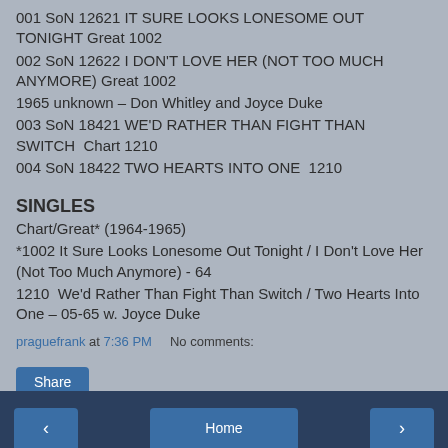001 SoN 12621 IT SURE LOOKS LONESOME OUT TONIGHT Great 1002
002 SoN 12622 I DON'T LOVE HER (NOT TOO MUCH ANYMORE) Great 1002
1965 unknown – Don Whitley and Joyce Duke
003 SoN 18421 WE'D RATHER THAN FIGHT THAN SWITCH  Chart 1210
004 SoN 18422 TWO HEARTS INTO ONE  1210
SINGLES
Chart/Great* (1964-1965)
*1002 It Sure Looks Lonesome Out Tonight / I Don't Love Her (Not Too Much Anymore) - 64
1210  We'd Rather Than Fight Than Switch / Two Hearts Into One – 05-65 w. Joyce Duke
praguefrank at 7:36 PM    No comments:
Share
◄  Home  ►